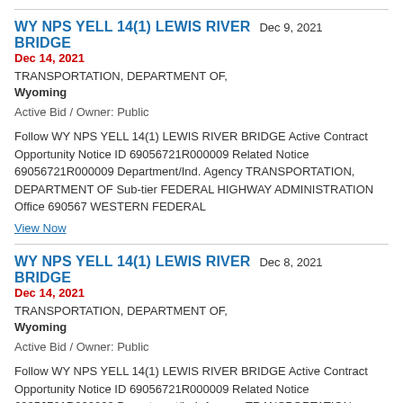WY NPS YELL 14(1) LEWIS RIVER BRIDGE   Dec 9, 2021   Dec 14, 2021
TRANSPORTATION, DEPARTMENT OF, Wyoming
Active Bid / Owner: Public
Follow WY NPS YELL 14(1) LEWIS RIVER BRIDGE Active Contract Opportunity Notice ID 69056721R000009 Related Notice 69056721R000009 Department/Ind. Agency TRANSPORTATION, DEPARTMENT OF Sub-tier FEDERAL HIGHWAY ADMINISTRATION Office 690567 WESTERN FEDERAL
View Now
WY NPS YELL 14(1) LEWIS RIVER BRIDGE   Dec 8, 2021   Dec 14, 2021
TRANSPORTATION, DEPARTMENT OF, Wyoming
Active Bid / Owner: Public
Follow WY NPS YELL 14(1) LEWIS RIVER BRIDGE Active Contract Opportunity Notice ID 69056721R000009 Related Notice 69056721R000009 Department/Ind. Agency TRANSPORTATION,